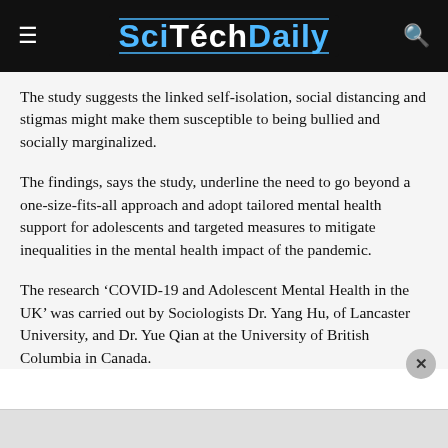SciTechDaily
The study suggests the linked self-isolation, social distancing and stigmas might make them susceptible to being bullied and socially marginalized.
The findings, says the study, underline the need to go beyond a one-size-fits-all approach and adopt tailored mental health support for adolescents and targeted measures to mitigate inequalities in the mental health impact of the pandemic.
The research ‘COVID-19 and Adolescent Mental Health in the UK’ was carried out by Sociologists Dr. Yang Hu, of Lancaster University, and Dr. Yue Qian at the University of British Columbia in Canada.